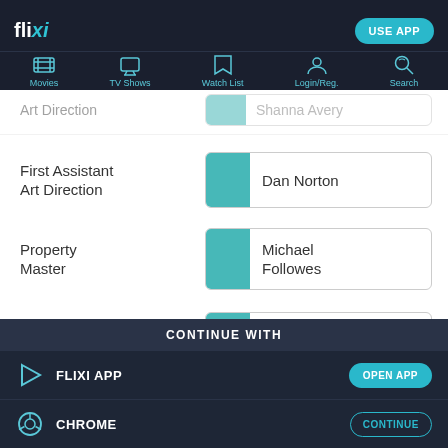flixi — USE APP
[Figure (screenshot): Navigation bar with icons: Movies, TV Shows, Watch List, Login/Reg., Search]
First Assistant Art Direction — Dan Norton
Property Master — Michael Followes
Set Decoration — Eric McNab
CONTINUE WITH
FLIXI APP — OPEN APP
CHROME — CONTINUE